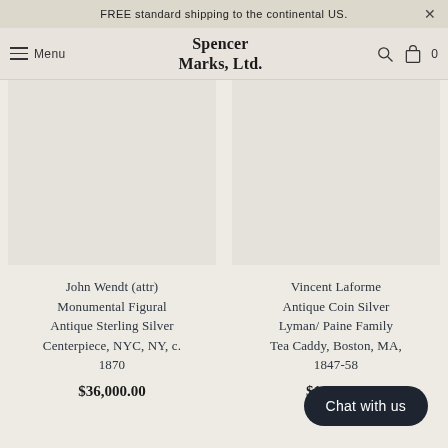FREE standard shipping to the continental US. ×
Spencer Marks, Ltd.
John Wendt (attr) Monumental Figural Antique Sterling Silver Centerpiece, NYC, NY, c. 1870
$36,000.00
Vincent Laforme Antique Coin Silver Lyman/ Paine Family Tea Caddy, Boston, MA, 1847-58
$1,450.00
Chat with us